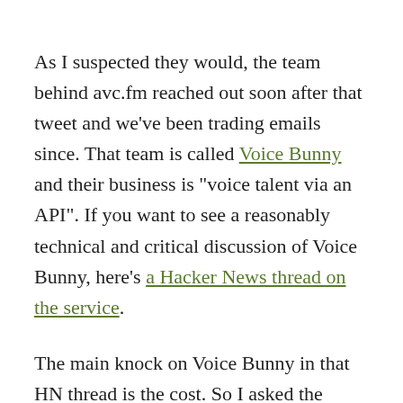As I suspected they would, the team behind avc.fm reached out soon after that tweet and we've been trading emails since. That team is called Voice Bunny and their business is "voice talent via an API". If you want to see a reasonably technical and critical discussion of Voice Bunny, here's a Hacker News thread on the service.
The main knock on Voice Bunny in that HN thread is the cost. So I asked the Voice Bunny team about that. They said: